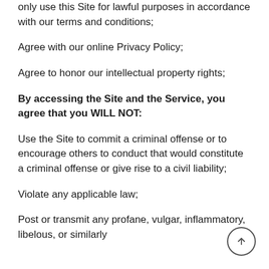only use this Site for lawful purposes in accordance with our terms and conditions;
Agree with our online Privacy Policy;
Agree to honor our intellectual property rights;
By accessing the Site and the Service, you agree that you WILL NOT:
Use the Site to commit a criminal offense or to encourage others to conduct that would constitute a criminal offense or give rise to a civil liability;
Violate any applicable law;
Post or transmit any profane, vulgar, inflammatory, libelous, or similarly